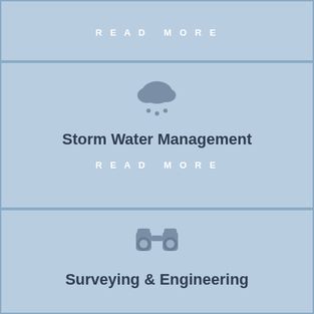READ MORE
[Figure (illustration): Rain cloud icon with three raindrops falling beneath it, in grey color]
Storm Water Management
READ MORE
[Figure (illustration): Binoculars icon in grey color]
Surveying & Engineering